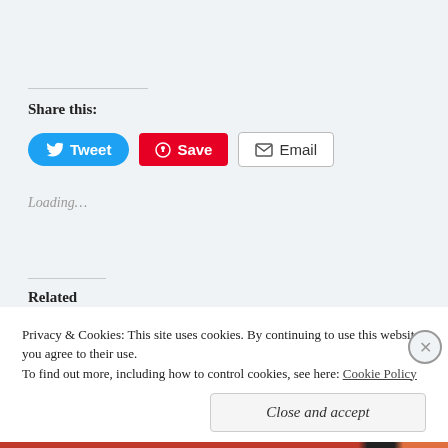Share this:
[Figure (screenshot): Social share buttons: Tweet (blue), Save (red Pinterest), Email (outlined)]
Loading...
Related
[Figure (photo): Related article thumbnail image, partially visible]
Privacy & Cookies:  This site uses cookies. By continuing to use this website, you agree to their use.
To find out more, including how to control cookies, see here: Cookie Policy
Close and accept